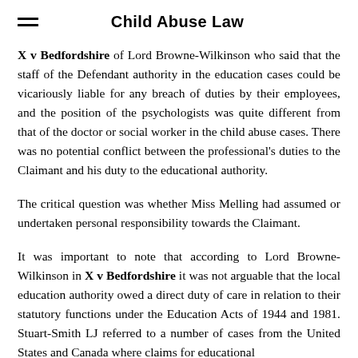Child Abuse Law
X v Bedfordshire of Lord Browne-Wilkinson who said that the staff of the Defendant authority in the education cases could be vicariously liable for any breach of duties by their employees, and the position of the psychologists was quite different from that of the doctor or social worker in the child abuse cases. There was no potential conflict between the professional's duties to the Claimant and his duty to the educational authority.
The critical question was whether Miss Melling had assumed or undertaken personal responsibility towards the Claimant.
It was important to note that according to Lord Browne-Wilkinson in X v Bedfordshire it was not arguable that the local education authority owed a direct duty of care in relation to their statutory functions under the Education Acts of 1944 and 1981. Stuart-Smith LJ referred to a number of cases from the United States and Canada where claims for educational